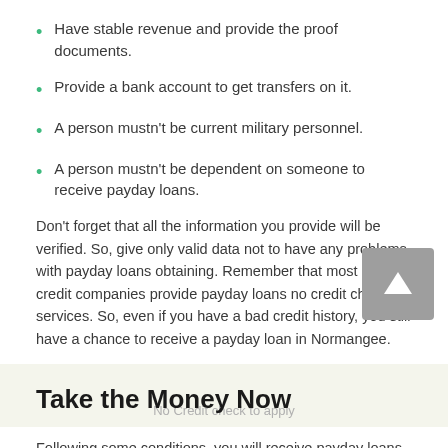Have stable revenue and provide the proof documents.
Provide a bank account to get transfers on it.
A person mustn't be current military personnel.
A person mustn't be dependent on someone to receive payday loans.
Don't forget that all the information you provide will be verified. So, give only valid data not to have any problems with payday loans obtaining. Remember that most of the credit companies provide payday loans no credit check services. So, even if you have a bad credit history, you still have a chance to receive a payday loan in Normangee.
Take the Money Now
Following some conditions, you will receive payday loans easily: